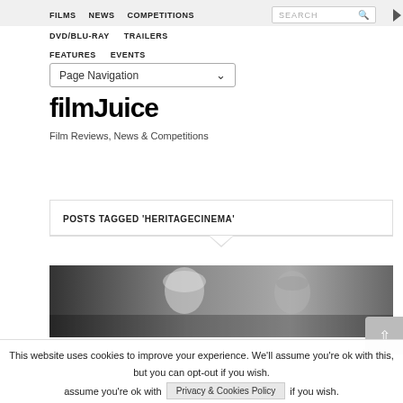FILMS  NEWS  COMPETITIONS  SEARCH  DVD/BLU-RAY  TRAILERS  FEATURES  EVENTS
Page Navigation
filmJuice
Film Reviews, News & Competitions
POSTS TAGGED 'HERITAGECINEMA'
[Figure (photo): Black and white photo of two people — a blonde woman and a man — in a classic film scene]
This website uses cookies to improve your experience. We'll assume you're ok with this, but you can opt-out if you wish.
Privacy & Cookies Policy